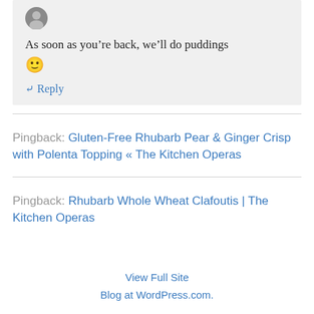As soon as you're back, we'll do puddings 🙂
↪ Reply
Pingback: Gluten-Free Rhubarb Pear & Ginger Crisp with Polenta Topping « The Kitchen Operas
Pingback: Rhubarb Whole Wheat Clafoutis | The Kitchen Operas
View Full Site
Blog at WordPress.com.